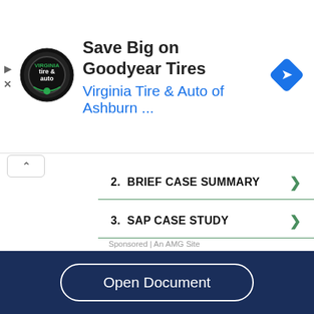[Figure (logo): Virginia Tire & Auto circular logo with tire graphic]
Save Big on Goodyear Tires
Virginia Tire & Auto of Ashburn ...
[Figure (other): Blue diamond navigation arrow icon]
2.  BRIEF CASE SUMMARY
3.  SAP CASE STUDY
4.  EHR CASE STUDY
5.  STUDY CASE EXAMPLE
Sponsored | An AMG Site
Open Document